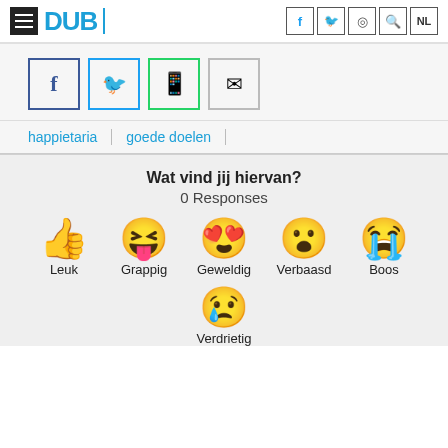DUB
[Figure (screenshot): Social share buttons: Facebook, Twitter, WhatsApp, Email]
happietaria
goede doelen
Wat vind jij hiervan?
0 Responses
[Figure (infographic): Reaction emojis: thumbs up (Leuk), laughing face with tongue (Grappig), heart eyes (Geweldig), surprised face (Verbaasd), crying face (Boos), sad face with tear (Verdrietig)]